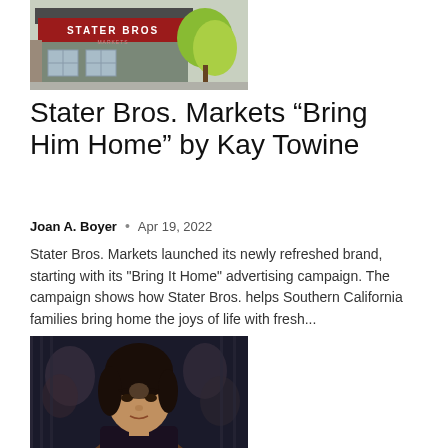[Figure (photo): Exterior photo of a Stater Bros. Markets grocery store building with red sign, windows, stone facade, and green trees]
Stater Bros. Markets “Bring Him Home” by Kay Towine
Joan A. Boyer • Apr 19, 2022
Stater Bros. Markets launched its newly refreshed brand, starting with its "Bring It Home" advertising campaign. The campaign shows how Stater Bros. helps Southern California families bring home the joys of life with fresh...
[Figure (photo): Close-up photo of a woman with dark hair at what appears to be an awards ceremony or event, crowd visible in background]